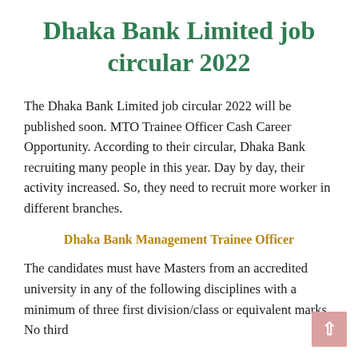Dhaka Bank Limited job circular 2022
The Dhaka Bank Limited job circular 2022 will be published soon. MTO Trainee Officer Cash Career Opportunity. According to their circular, Dhaka Bank recruiting many people in this year. Day by day, their activity increased. So, they need to recruit more worker in different branches.
Dhaka Bank Management Trainee Officer
The candidates must have Masters from an accredited university in any of the following disciplines with a minimum of three first division/class or equivalent marks. No third